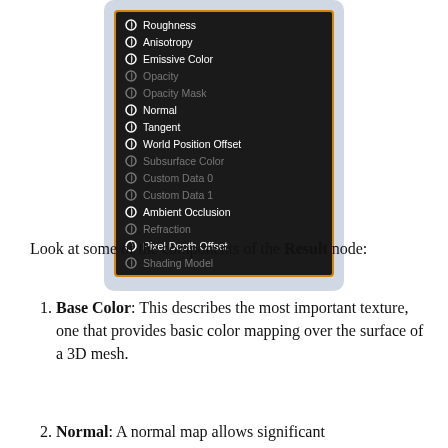[Figure (screenshot): A dark-themed node editor panel showing the Result node's input components list: Roughness, Anisotropy, Emissive Color, Opacity (dimmed), Opacity Mask (dimmed), Normal, Tangent, World Position Offset, Subsurface Color (dimmed), Custom Data 0 (dimmed), Custom Data 1 (dimmed), Ambient Occlusion, Refraction (dimmed), Pixel Depth Offset, Shading Model (dimmed). Each row has a small circle-arrow icon. The panel has an orange border.]
Look at some of the components of the Result node:
Base Color: This describes the most important texture, one that provides basic color mapping over the surface of a 3D mesh.
Normal: A normal map allows significant